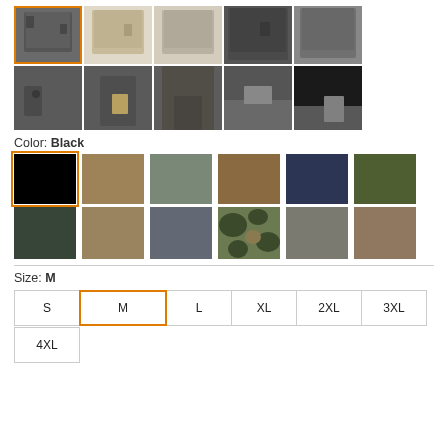[Figure (photo): Grid of product photos showing tactical/cargo shorts in various colors and angles. Top row: 5 full shorts images. Bottom row: 5 detail/pocket close-up images.]
Color: Black
[Figure (infographic): Color swatch grid with 12 swatches: Black (selected, orange border), Tan/Coyote, Gray-Green, Dark Tan/Brown, Navy, Olive, Dark Green, Tan camo, Gray, Woodland Camo, Khaki-Gray, Light Brown.]
Size: M
[Figure (infographic): Size selector buttons: S, M (selected, orange border), L, XL, 2XL, 3XL, 4XL.]